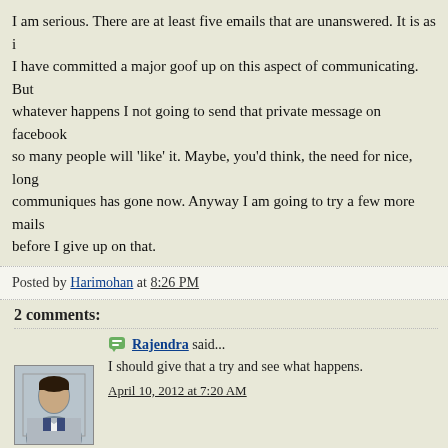I am serious. There are at least five emails that are unanswered. It is as if I have committed a major goof up on this aspect of communicating. But whatever happens I not going to send that private message on facebook so many people will 'like' it. Maybe, you'd think, the need for nice, long communiques has gone now. Anyway I am going to try a few more mails before I give up on that.
Posted by Harimohan at 8:26 PM
2 comments:
Rajendra said...
I should give that a try and see what happens.
April 10, 2012 at 7:20 AM
Harimohan said...
And Raja, let me know your findings too.
April 10, 2012 at 8:22 AM
Post a Comment